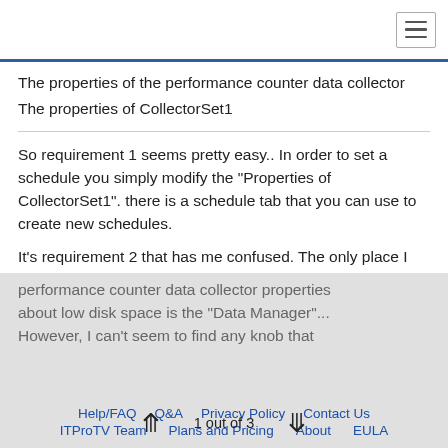The properties of the performance counter data collector
The properties of CollectorSet1
So requirement 1 seems pretty easy.. In order to set a schedule you simply modify the "Properties of CollectorSet1". there is a schedule tab that you can use to create new schedules.
It's requirement 2 that has me confused. The only place I can find anywhere in the performance counter data collector properties about low disk space is the "Data Manager"... However, I can't seem to find any knob that
Help/FAQ   Q&A   Privacy Policy   Contact Us   ITProTV Team   Plans and Pricing   About   EULA   1 out of 3